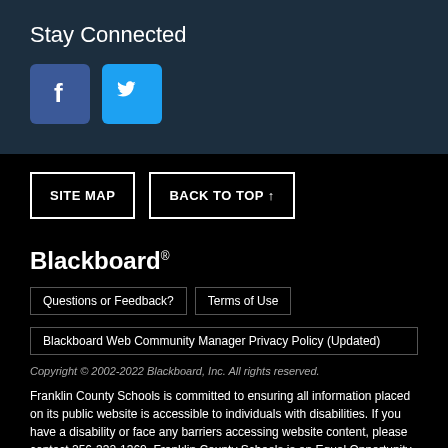Stay Connected
[Figure (logo): Facebook icon - blue square with white 'f' letter]
[Figure (logo): Twitter icon - light blue square with white bird logo]
SITE MAP
BACK TO TOP ↑
Blackboard®
Questions or Feedback?
Terms of Use
Blackboard Web Community Manager Privacy Policy (Updated)
Copyright © 2002-2022 Blackboard, Inc. All rights reserved.
Franklin County Schools is committed to ensuring all information placed on its public website is accessible to individuals with disabilities. If you have a disability or face any barriers accessing website content, please contact 256-332-1360. Franklin County Schools is an Equal Opportunity Employer. It is the policy of the Franklin